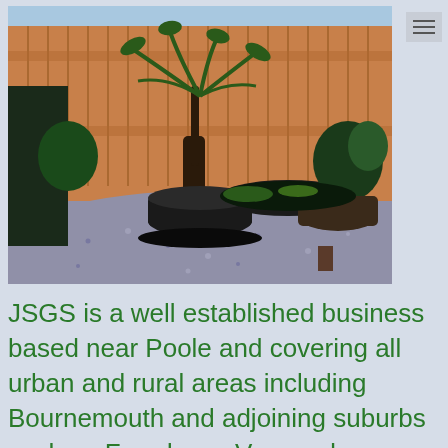[Figure (photo): A garden scene with a large palm-like plant in a black pot in the center, surrounded by gravel, with wooden fence in the background, potted plants on the right, and garden ornaments. Sky visible at top.]
JSGS is a well established business based near Poole and covering all urban and rural areas including Bournemouth and adjoining suburbs such as Ferndown, Verwood, Wimborne, Corfe Mullen, Canford Heath,